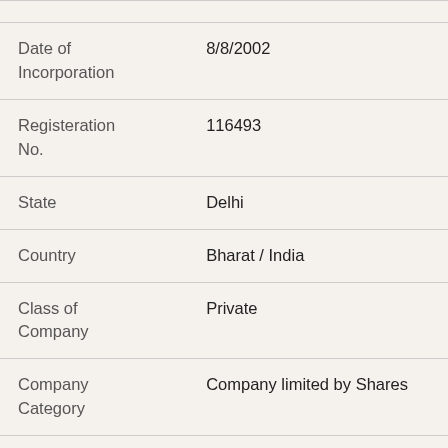| Field | Value |
| --- | --- |
| Date of Incorporation | 8/8/2002 |
| Registeration No. | 116493 |
| State | Delhi |
| Country | Bharat / India |
| Class of Company | Private |
| Company Category | Company limited by Shares |